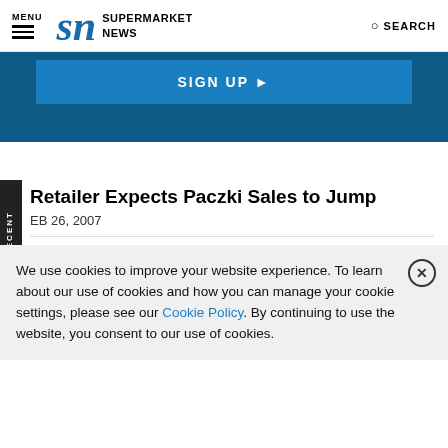MENU | SN SUPERMARKET NEWS | SEARCH
[Figure (screenshot): Blue SIGN UP button banner on dark blue background]
Retailer Expects Paczki Sales to Jump
EB 26, 2007
We use cookies to improve your website experience. To learn about our use of cookies and how you can manage your cookie settings, please see our Cookie Policy. By continuing to use the website, you consent to our use of cookies.